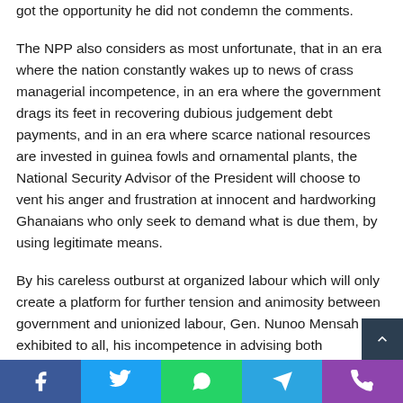got the opportunity he did not condemn the comments.
The NPP also considers as most unfortunate, that in an era where the nation constantly wakes up to news of crass managerial incompetence, in an era where the government drags its feet in recovering dubious judgement debt payments, and in an era where scarce national resources are invested in guinea fowls and ornamental plants, the National Security Advisor of the President will choose to vent his anger and frustration at innocent and hardworking Ghanaians who only seek to demand what is due them, by using legitimate means.
By his careless outburst at organized labour which will only create a platform for further tension and animosity between government and unionized labour, Gen. Nunoo Mensah has exhibited to all, his incompetence in advising both Presidents